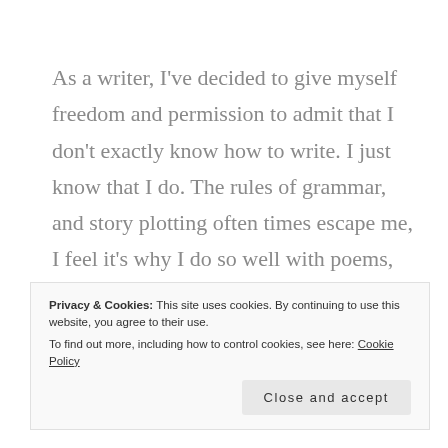As a writer, I've decided to give myself freedom and permission to admit that I don't exactly know how to write. I just know that I do. The rules of grammar, and story plotting often times escape me, I feel it's why I do so well with poems, and perhaps essays, and very short stories, yet have struggled historically with longer stories. I have grand schemes and ideas, and things that I know
Privacy & Cookies: This site uses cookies. By continuing to use this website, you agree to their use.
To find out more, including how to control cookies, see here: Cookie Policy
Close and accept